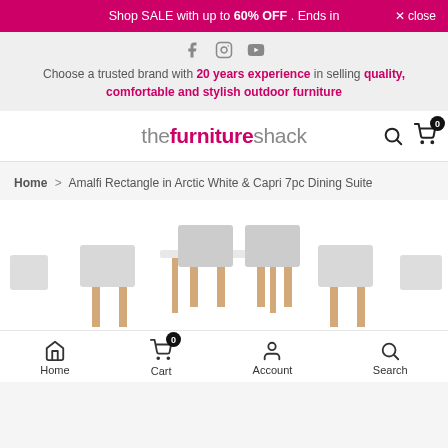Shop SALE with up to 60% OFF . Ends in   × close
Choose a trusted brand with 20 years experience in selling quality, comfortable and stylish outdoor furniture
[Figure (logo): thefurnitureshack logo with search and cart icons]
Home > Amalfi Rectangle in Arctic White & Capri 7pc Dining Suite
[Figure (photo): Outdoor dining set showing chairs and table in white, partially visible at bottom of page]
Home  Cart (0)  Account  Search